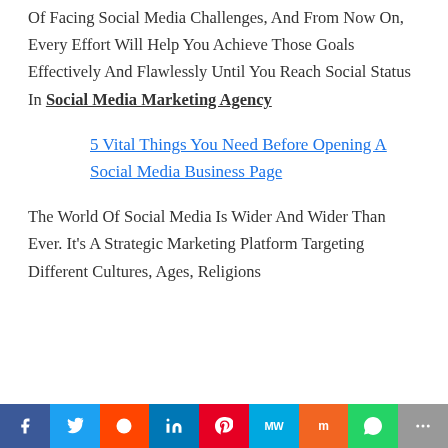Of Facing Social Media Challenges, And From Now On, Every Effort Will Help You Achieve Those Goals Effectively And Flawlessly Until You Reach Social Status In Social Media Marketing Agency
5 Vital Things You Need Before Opening A Social Media Business Page
The World Of Social Media Is Wider And Wider Than Ever. It's A Strategic Marketing Platform Targeting Different Cultures, Ages, Religions
f  Twitter  Reddit  in  Pinterest  MW  Mix  WhatsApp  More